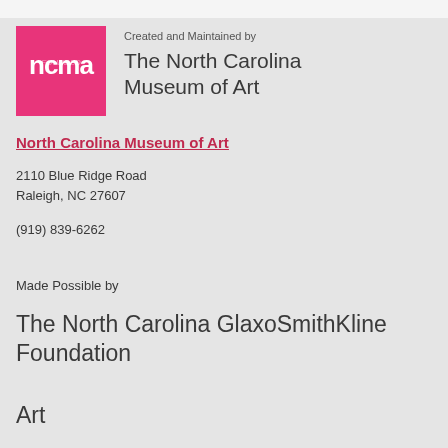[Figure (logo): NCMA pink logo square with white stylized text 'ncma']
Created and Maintained by
The North Carolina Museum of Art
North Carolina Museum of Art
2110 Blue Ridge Road
Raleigh, NC 27607
(919) 839-6262
Made Possible by
The North Carolina GlaxoSmithKline Foundation
Art